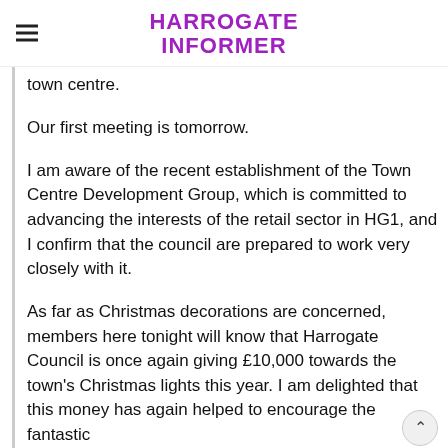HARROGATE INFORMER
town centre.
Our first meeting is tomorrow.
I am aware of the recent establishment of the Town Centre Development Group, which is committed to advancing the interests of the retail sector in HG1, and I confirm that the council are prepared to work very closely with it.
As far as Christmas decorations are concerned, members here tonight will know that Harrogate Council is once again giving £10,000 towards the town's Christmas lights this year. I am delighted that this money has again helped to encourage the fantastic